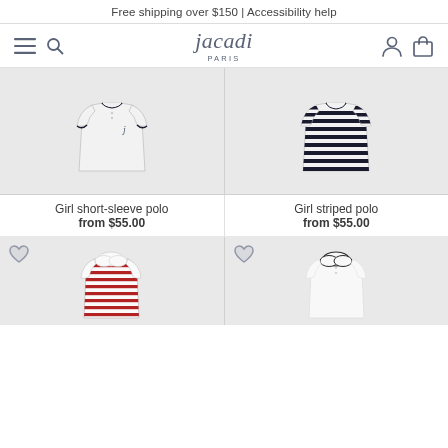Free shipping over $150 | Accessibility help
[Figure (logo): Jacadi Paris logo with navigation icons]
[Figure (photo): Girl short-sleeve white polo shirt with dark collar trim and Jacadi emblem]
[Figure (photo): Girl striped navy and white polo shirt]
Girl short-sleeve polo
from $55.00
Girl striped polo
from $55.00
[Figure (photo): Girl red and white striped long-sleeve top with white Peter Pan collar]
[Figure (photo): Girl white long-sleeve top with Peter Pan collar and dark trim]